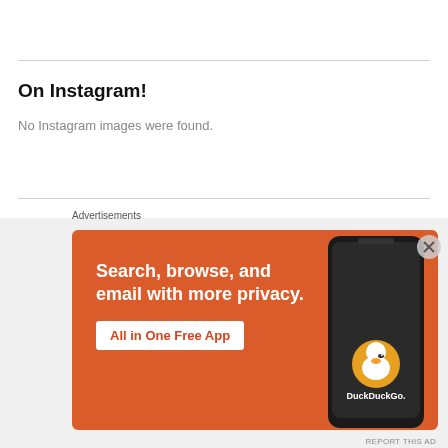On Instagram!
No Instagram images were found.
COPYRIGHT NOTICE
[Figure (logo): Creative Commons BY NC ND license badge]
This work by Seyi Sandra David is licensed under a Creative Commons Attribution-NonCommercial-NoDerivs 3.0 Unported License.
[Figure (screenshot): DuckDuckGo advertisement banner: Search, browse, and email with more privacy. All in One Free App. Shows a phone with DuckDuckGo app.]